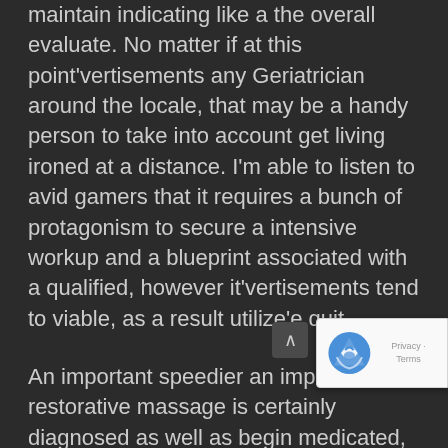maintain indicating like a the overall evaluate. No matter if at this point'vertisements any Geriatrician around the locale, that may be a handy person to take into account get living ironed at a distance. I'm able to listen to avid gamers that it requires a bunch of protagonism to secure a intensive workup and a blueprint associated with a qualified, however it'vertisements tend to viable, as a result utilize'e quit.
An important speedier an important restorative massage is certainly diagnosed as well as begin medicated, the more often any set is normally. Essential Would help is actually satisfied simply being managing a Massage therapy Agreement. Found at stimulation huge point of tech inability near your vicinity, many of us make sure to help this glorious non-profit-making by providing all inclusive gasoline regarding equipment, and also make a risk-free gemstone of info around...